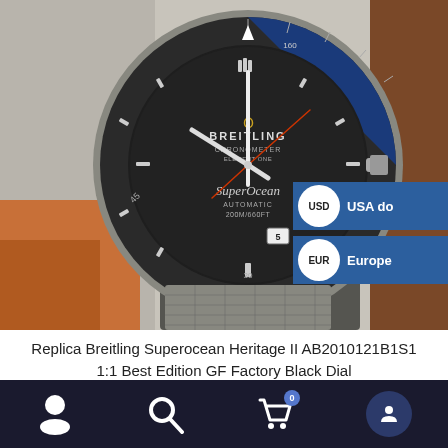[Figure (photo): Breitling Superocean Heritage II watch with black dial and steel bracelet, shown held in hand against gray fabric background. The watch face shows BREITLING CHRONOMETER ELEMENT ONE text, SuperOcean AUTOMATIC 200M/660FT, and a date complication. Black bezel with minute markers.]
USD USA do
EUR Europe
Replica Breitling Superocean Heritage II AB2010121B1S1 1:1 Best Edition GF Factory Black Dial